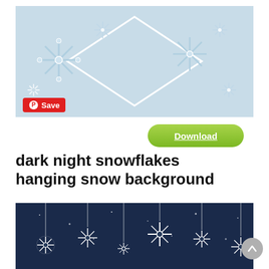[Figure (illustration): Light blue background with white decorative snowflakes of various sizes arranged around a diamond/rhombus shaped frame outline in the center]
[Figure (other): Red Pinterest Save button overlay on the top image]
[Figure (other): Green Download button with underlined white text 'Download']
dark night snowflakes hanging snow background
[Figure (illustration): Dark navy blue night background with hanging snowflake ornaments on strings, and white snow dots scattered throughout]